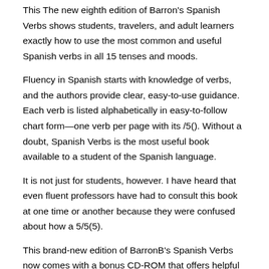This The new eighth edition of Barron's Spanish Verbs shows students, travelers, and adult learners exactly how to use the most common and useful Spanish verbs in all 15 tenses and moods.
Fluency in Spanish starts with knowledge of verbs, and the authors provide clear, easy-to-use guidance. Each verb is listed alphabetically in easy-to-follow chart form—one verb per page with its /5(). Without a doubt, Spanish Verbs is the most useful book available to a student of the Spanish language.
It is not just for students, however. I have heard that even fluent professors have had to consult this book at one time or another because they were confused about how a 5/5(5).
This brand-new edition of BarronB's Spanish Verbs now comes with a bonus CD-ROM that offers helpful practice exercises in verb conjugation and a concise grammar review.
The book presents the most common regular and irregular Spanish verbs alphabetically arranged in table form, one verb per page, and completely conjugated in all tenses. Find many great new & used